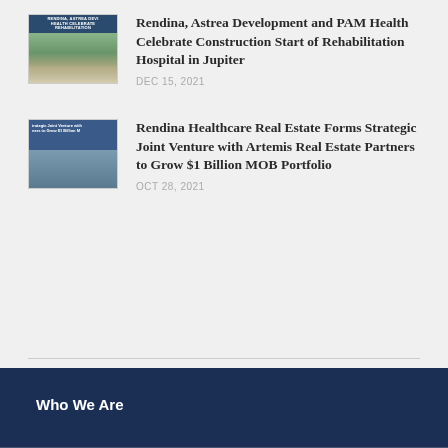[Figure (photo): Thumbnail image of a building exterior with text overlay reading RENDINA, ASTREA DEVI / HEALTH CELEBRATE / REHABILITATION]
Rendina, Astrea Development and PAM Health Celebrate Construction Start of Rehabilitation Hospital in Jupiter
DEC 15, 2021
[Figure (photo): Thumbnail image with text overlay reading 'trategic Joint Venture with ners to Grow $1 Billion M' and a building exterior]
Rendina Healthcare Real Estate Forms Strategic Joint Venture with Artemis Real Estate Partners to Grow $1 Billion MOB Portfolio
OCT 28, 2021
Who We Are